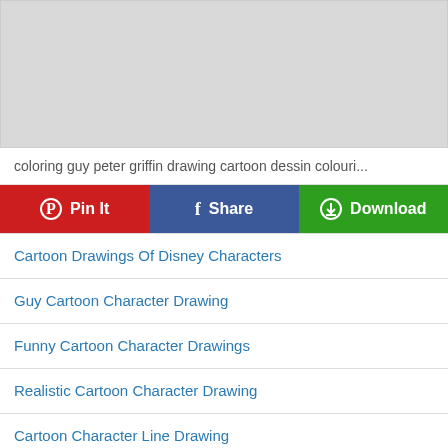[Figure (illustration): Gray placeholder image representing a cartoon drawing (coloring guy peter griffin drawing cartoon dessin colouri...)]
coloring guy peter griffin drawing cartoon dessin colouri...
Pin It | Share | Download
Cartoon Drawings Of Disney Characters
Guy Cartoon Character Drawing
Funny Cartoon Character Drawings
Realistic Cartoon Character Drawing
Cartoon Character Line Drawing
Cool Cartoon Character Drawings